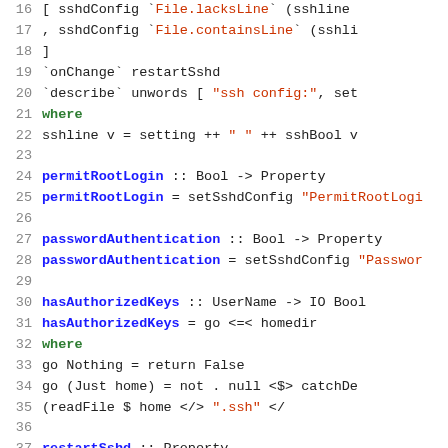[Figure (screenshot): Haskell source code snippet with line numbers 16-42, showing SSH configuration property definitions including permitRootLogin, passwordAuthentication, hasAuthorizedKeys, restartSshd, and uniqueHostKeys functions with syntax highlighting.]